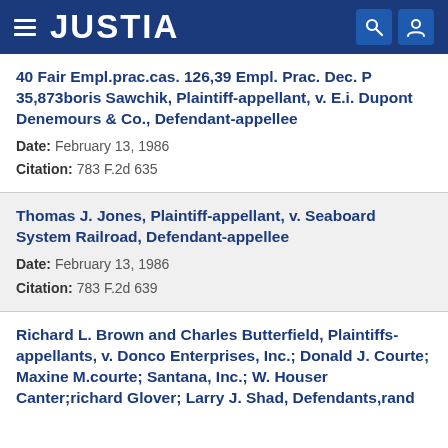JUSTIA
40 Fair Empl.prac.cas. 126,39 Empl. Prac. Dec. P 35,873boris Sawchik, Plaintiff-appellant, v. E.i. Dupont Denemours & Co., Defendant-appellee
Date: February 13, 1986
Citation: 783 F.2d 635
Thomas J. Jones, Plaintiff-appellant, v. Seaboard System Railroad, Defendant-appellee
Date: February 13, 1986
Citation: 783 F.2d 639
Richard L. Brown and Charles Butterfield, Plaintiffs-appellants, v. Donco Enterprises, Inc.; Donald J. Courte; Maxine M.courte; Santana, Inc.; W. Houser Canter;richard Glover; Larry J. Shad, Defendants,rand